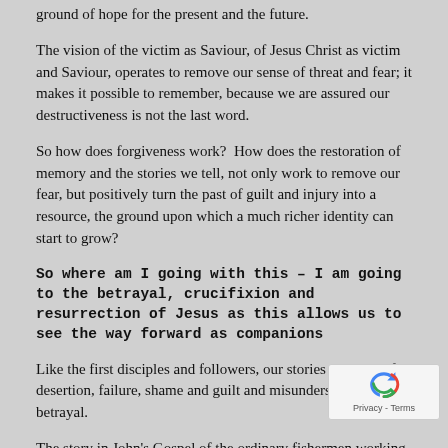ground of hope for the present and the future.
The vision of the victim as Saviour, of Jesus Christ as victim and Saviour, operates to remove our sense of threat and fear; it makes it possible to remember, because we are assured our destructiveness is not the last word.
So how does forgiveness work?  How does the restoration of memory and the stories we tell, not only work to remove our fear, but positively turn the past of guilt and injury into a resource, the ground upon which a much richer identity can start to grow?
So where am I going with this – I am going to the betrayal, crucifixion and resurrection of Jesus as this allows us to see the way forward as companions
Like the first disciples and followers, our stories are ones of desertion, failure, shame and guilt and misunderstanding and betrayal.
The story in John's Gospel of the ordinary fishermen working on their nets after Jesus' crucifixion, become story of the memory being transformed as Jesus asks Peter three times, 'do you love me?', as Peter and Jesus